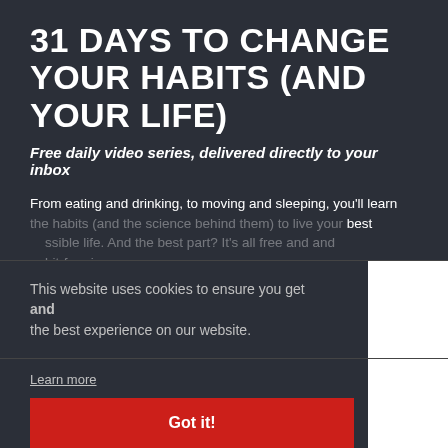31 DAYS TO CHANGE YOUR HABITS (AND YOUR LIFE)
Free daily video series, delivered directly to your inbox
From eating and drinking, to moving and sleeping, you'll learn the habits (and the science behind them) to live your best possible life. And the best part? It's all free and habit-forming.
This website uses cookies to ensure you get the best experience on our website.
Learn more
Got it!